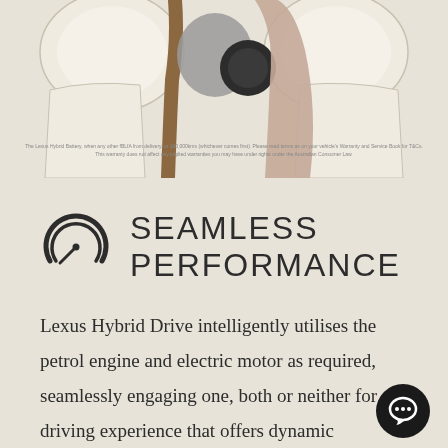[Figure (illustration): Illustration of car interior headrests and seat backs in cream/beige tones with brown, gray, and mauve accent colors. Small fine-print text visible at center bottom of the image area mentioning Lexus Hybrid Battery warranty and T&Cs.]
SEAMLESS PERFORMANCE
Lexus Hybrid Drive intelligently utilises the petrol engine and electric motor as required, seamlessly engaging one, both or neither for a driving experience that offers dynamic performance and impressive acceleration.